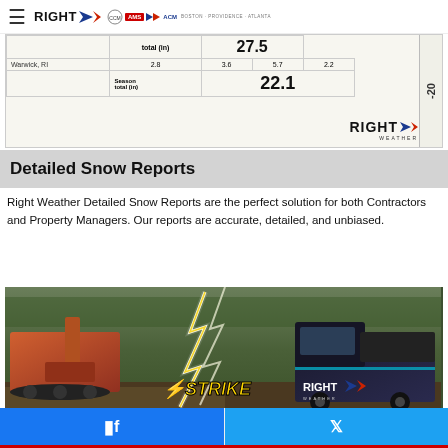RIGHT WEATHER | AMS | ACM — Boston · Providence · Atlanta
[Figure (table-as-image): Snow report table showing Warwick RI data with season total 22.1 in and total in row showing 27.5; ruler on right side showing -20]
Detailed Snow Reports
Right Weather Detailed Snow Reports are the perfect solution for both Contractors and Property Managers. Our reports are accurate, detailed, and unbiased.
[Figure (photo): Strike product promotional image showing an orange track loader on the left and a dark pickup truck on the right with lightning bolts between them. Strike logo with lightning bolt icon in yellow at bottom center. Right Weather logo at bottom right. Background shows trees and overcast sky.]
Facebook share | Twitter share